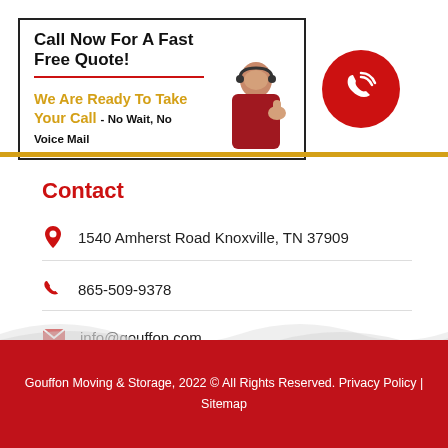[Figure (infographic): Call Now For A Fast Free Quote! We Are Ready To Take Your Call - No Wait, No Voice Mail. Banner with woman giving thumbs up and red phone circle icon.]
Contact
1540 Amherst Road Knoxville, TN 37909
865-509-9378
info@gouffon.com
Gouffon Moving & Storage, 2022 © All Rights Reserved. Privacy Policy | Sitemap